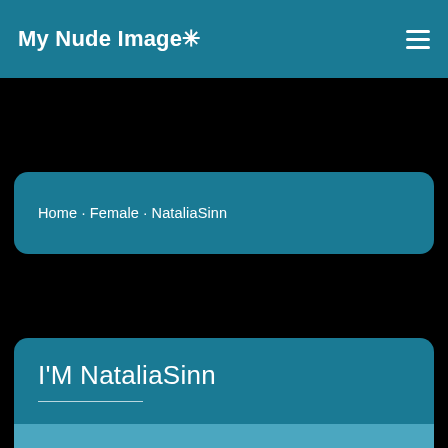My Nude Image✳
Home · Female · NataliaSinn
I'M NataliaSinn